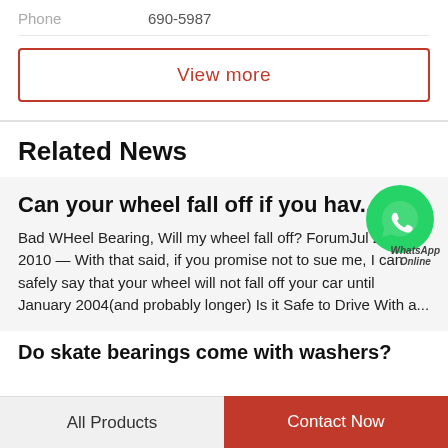Phone   690-5987
View more
Related News
Can your wheel fall off if you hav...
Bad WHeel Bearing, Will my wheel fall off? ForumJul 28, 2010 — With that said, if you promise not to sue me, I can safely say that your wheel will not fall off your car until January 2004(and probably longer) Is it Safe to Drive With a...
[Figure (logo): WhatsApp green bubble icon with WhatsApp Online text label]
Do skate bearings come with washers?
All Products   Contact Now